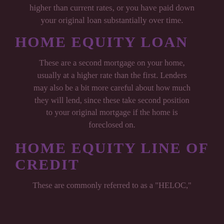higher than current rates, or you have paid down your original loan substantially over time.
HOME EQUITY LOAN
These are a second mortgage on your home, usually at a higher rate than the first. Lenders may also be a bit more careful about how much they will lend, since these take second position to your original mortgage if the home is foreclosed on.
HOME EQUITY LINE OF CREDIT
These are commonly referred to as a "HELOC,"